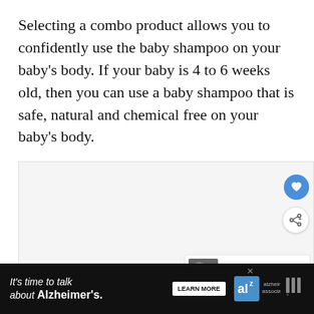Selecting a combo product allows you to confidently use the baby shampoo on your baby's body. If your baby is 4 to 6 weeks old, then you can use a baby shampoo that is safe, natural and chemical free on your baby's body.
[Figure (photo): Image carousel area with navigation dots, heart/favorite button (blue circle), share button, and 'What's Next' thumbnail showing Best Oatmeal Shampoo article]
[Figure (infographic): Advertisement bar: 'It's time to talk about Alzheimer's.' with LEARN MORE button, Alzheimer's Association logo, and weather app icon]